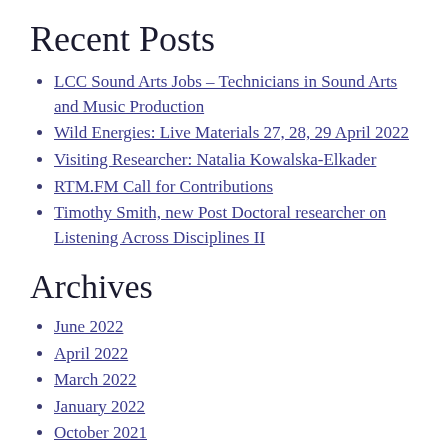Recent Posts
LCC Sound Arts Jobs – Technicians in Sound Arts and Music Production
Wild Energies: Live Materials 27, 28, 29 April 2022
Visiting Researcher: Natalia Kowalska-Elkader
RTM.FM Call for Contributions
Timothy Smith, new Post Doctoral researcher on Listening Across Disciplines II
Archives
June 2022
April 2022
March 2022
January 2022
October 2021